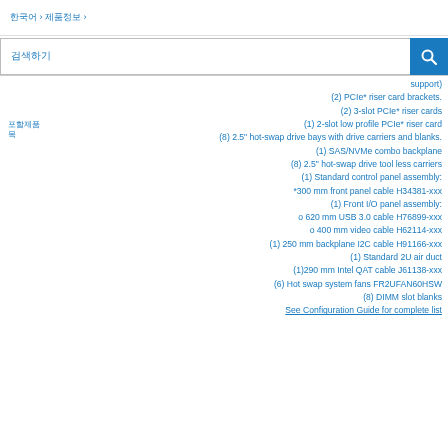한국어 › 제품정보 ›
검색하기
support)
(2) PCIe* riser card brackets.
(2) 3-slot PCIe* riser cards
(1) 2-slot low profile PCIe* riser card
(8) 2.5" hot-swap drive bays with drive carriers and blanks.
(1) SAS/NVMe combo backplane
(8) 2.5" hot-swap drive tool less carriers
(1) Standard control panel assembly:
*300 mm front panel cable H34381-xxx
(1) Front I/O panel assembly:
o 620 mm USB 3.0 cable H76899-xxx
o 400 mm video cable H62114-xxx
(1) 250 mm backplane I2C cable H91166-xxx
(1) Standard 2U air duct
(1)290 mm Intel QAT cable J61138-xxx
(6) Hot swap system fans FR2UFAN60HSW
(8) DIMM slot blanks
See Configuration Guide for complete list